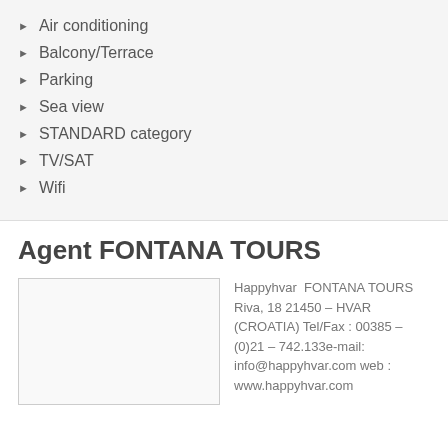Air conditioning
Balcony/Terrace
Parking
Sea view
STANDARD category
TV/SAT
Wifi
Agent FONTANA TOURS
[Figure (photo): Agent photo placeholder image]
Happyhvar FONTANA TOURS Riva, 18 21450 – HVAR (CROATIA) Tel/Fax : 00385 – (0)21 – 742.133e-mail: info@happyhvar.com web : www.happyhvar.com